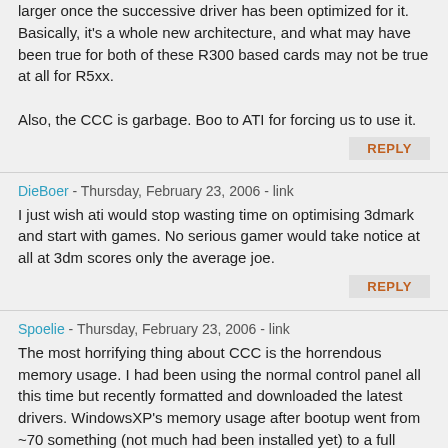larger once the successive driver has been optimized for it. Basically, it's a whole new architecture, and what may have been true for both of these R300 based cards may not be true at all for R5xx.

Also, the CCC is garbage. Boo to ATI for forcing us to use it.
REPLY
DieBoer - Thursday, February 23, 2006 - link
I just wish ati would stop wasting time on optimising 3dmark and start with games. No serious gamer would take notice at all at 3dm scores only the average joe.
REPLY
Spoelie - Thursday, February 23, 2006 - link
The most horrifying thing about CCC is the horrendous memory usage. I had been using the normal control panel all this time but recently formatted and downloaded the latest drivers. WindowsXP's memory usage after bootup went from ~70 something (not much had been installed yet) to a full fledged 200mb!! Only from installing the f*cked up driver.

After some tweaking (disabling all ATi's added services and the CCC entry in the registry's startup) I'm back at around ~95mb after